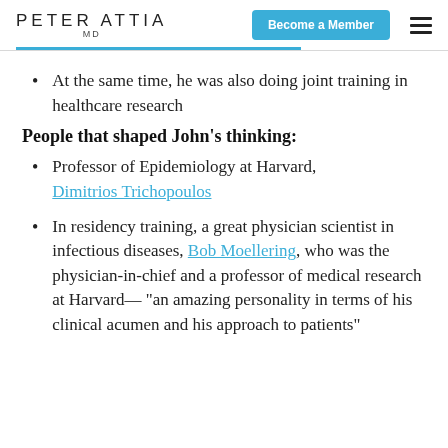PETER ATTIA MD | Become a Member
At the same time, he was also doing joint training in healthcare research
People that shaped John's thinking:
Professor of Epidemiology at Harvard, Dimitrios Trichopoulos
In residency training, a great physician scientist in infectious diseases, Bob Moellering, who was the physician-in-chief and a professor of medical research at Harvard— “an amazing personality in terms of his clinical acumen and his approach to patients”